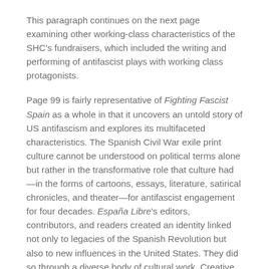This paragraph continues on the next page examining other working-class characteristics of the SHC's fundraisers, which included the writing and performing of antifascist plays with working class protagonists.
Page 99 is fairly representative of Fighting Fascist Spain as a whole in that it uncovers an untold story of US antifascism and explores its multifaceted characteristics. The Spanish Civil War exile print culture cannot be understood on political terms alone but rather in the transformative role that culture had—in the forms of cartoons, essays, literature, satirical chronicles, and theater—for antifascist engagement for four decades. España Libre's editors, contributors, and readers created an identity linked not only to legacies of the Spanish Revolution but also to new influences in the United States. They did so through a diverse body of cultural work. Creative expression was